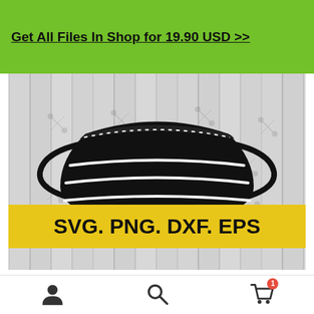Get All Files In Shop for 19.90 USD >> X
[Figure (illustration): Black silhouette medical face mask SVG clip art on a grey wood-grain background. The mask has ear loops on both sides and three horizontal pleats/folds. A scissors watermark pattern is overlaid. Below the mask image is a yellow banner reading: SVG. PNG. DXF. EPS]
Medical Mask SVG, DXF
User icon | Search icon | Cart icon (1 item)